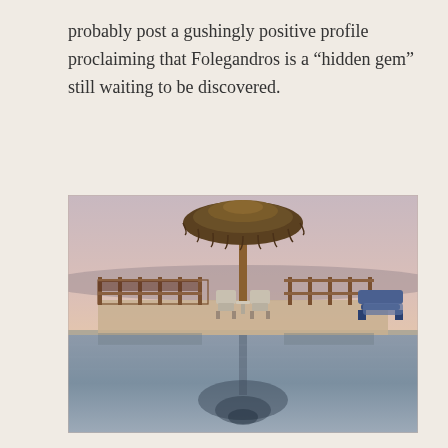probably post a gushingly positive profile proclaiming that Folegandros is a “hidden gem” still waiting to be discovered.
[Figure (photo): A twilight photograph of a Mediterranean pool terrace. A thatched straw umbrella stands in the center on a wooden deck surrounded by a rustic wooden railing fence with chairs underneath. To the right are blue sun loungers. The calm pool in the foreground perfectly reflects the umbrella and fence. The sky transitions from pale pink to lavender at dusk.]